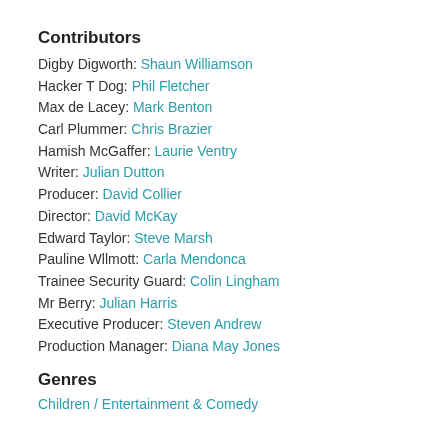Contributors
Digby Digworth: Shaun Williamson
Hacker T Dog: Phil Fletcher
Max de Lacey: Mark Benton
Carl Plummer: Chris Brazier
Hamish McGaffer: Laurie Ventry
Writer: Julian Dutton
Producer: David Collier
Director: David McKay
Edward Taylor: Steve Marsh
Pauline Wilmott: Carla Mendonca
Trainee Security Guard: Colin Lingham
Mr Berry: Julian Harris
Executive Producer: Steven Andrew
Production Manager: Diana May Jones
Genres
Children / Entertainment & Comedy